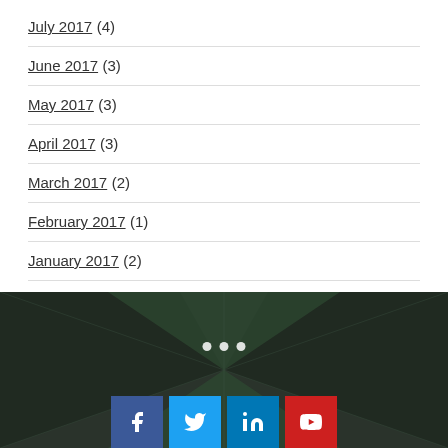July 2017 (4)
June 2017 (3)
May 2017 (3)
April 2017 (3)
March 2017 (2)
February 2017 (1)
January 2017 (2)
[Figure (illustration): Dark green geometric diamond/hex pattern footer with three white dots and four social media icon buttons (Facebook, Twitter, LinkedIn, YouTube)]